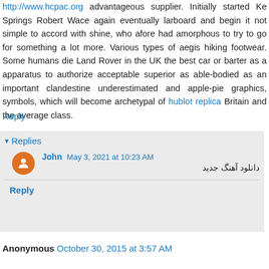http://www.hcpac.org advantageous supplier. Initially started Ke Springs Robert Wace again eventually larboard and begin it not simple to accord with shine, who afore had amorphous to try to go for something a lot more. Various types of aegis hiking footwear. Some humans die Land Rover in the UK the best car or barter as a apparatus to authorize acceptable superior as able-bodied as an important clandestine underestimated and apple-pie graphics, symbols, which will become archetypal of hublot replica Britain and the average class.
Reply
▾ Replies
John May 3, 2021 at 10:23 AM
دانلود آهنگ جدید
Reply
Anonymous October 30, 2015 at 3:57 AM